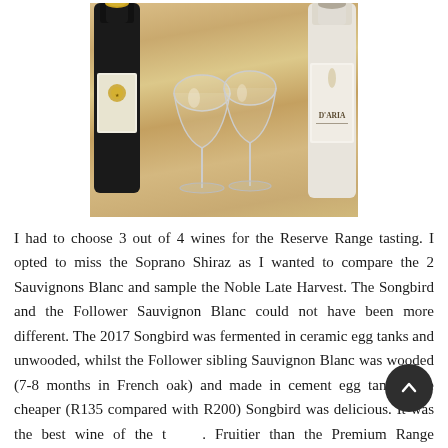[Figure (photo): Photo showing two dark wine bottles and two empty white wine glasses on a wooden table. The right bottle has a D'ARIA label visible.]
I had to choose 3 out of 4 wines for the Reserve Range tasting. I opted to miss the Soprano Shiraz as I wanted to compare the 2 Sauvignons Blanc and sample the Noble Late Harvest. The Songbird and the Follower Sauvignon Blanc could not have been more different. The 2017 Songbird was fermented in ceramic egg tanks and unwooded, whilst the Follower sibling Sauvignon Blanc was wooded (7-8 months in French oak) and made in cement egg tanks. The cheaper (R135 compared with R200) Songbird was delicious. It was the best wine of the t[asting]. Fruitier than the Premium Range Sauvignon Blanc, its [quality] easily showed. I liked the complexity of kiwi, melon, guava and